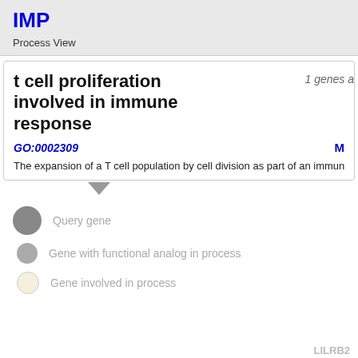IMP
Process View
t cell proliferation involved in immune response
1 genes a
GO:0002309
M
The expansion of a T cell population by cell division as part of an immune respo
Query gene
Gene with functional analog in process
Gene involved in process
LILRB2